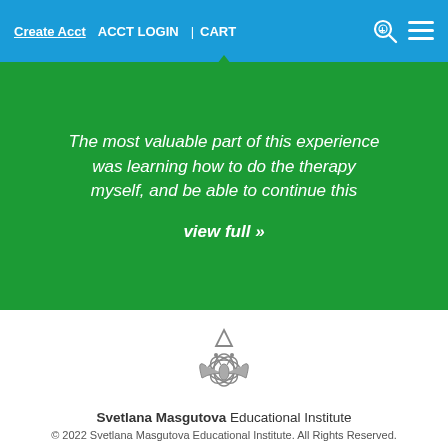Create Acct   ACCT LOGIN  |  CART
The most valuable part of this experience was learning how to do the therapy myself, and be able to continue this
view full »
[Figure (logo): Svetlana Masgutova Educational Institute lotus/butterfly logo in grey]
Svetlana Masgutova Educational Institute
© 2022 Svetlana Masgutova Educational Institute. All Rights Reserved.
Sitemap  |  Privacy Policy  |  Contact/Forms
Site by D23 Design